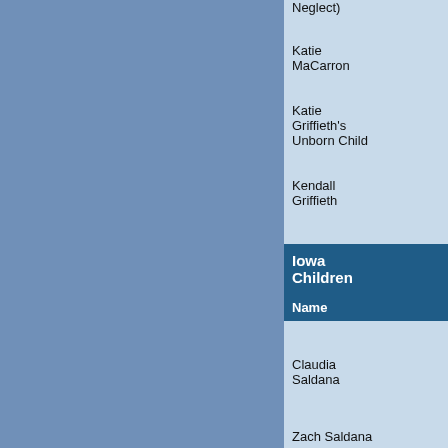| Name | Age | City/... |
| --- | --- | --- |
| (Neglect) |  |  |
| Katie MaCarron | 6 | Mort... |
| Katie Griffieth's Unborn Child | 6 mos pregnant | Halls... |
| Kendall Griffieth | 8 | Halls... |
Iowa Children
| Name | Age | City/... |
| --- | --- | --- |
| Claudia Saldana | 12 | Sioux... |
| Zach Saldana | 11 | Sioux... |
| Larry Saldana | 9 | Sioux... |
| Lisa Salda... | 7 | Sioux... |